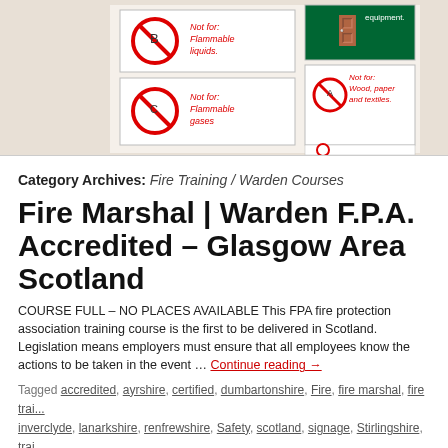[Figure (photo): Fire safety signs showing fire extinguisher types. Left column: two signs with red circle-slash symbols labelled 'Not for: Flammable liquids.' and 'Not for: Flammable gases'. Right column: green fire exit sign at top, then a sign with red circle-slash labelled 'Not for: Wood, paper and textiles.' and another partial sign. Background is beige.]
Category Archives: Fire Training / Warden Courses
Fire Marshal | Warden F.P.A. Accredited – Glasgow Area Scotland
COURSE FULL – NO PLACES AVAILABLE This FPA fire protection association training course is the first to be delivered in Scotland. Legislation means employers must ensure that all employees know the actions to be taken in the event … Continue reading →
Tagged accredited, ayrshire, certified, dumbartonshire, Fire, fire marshal, fire training, inverclyde, lanarkshire, renfrewshire, Safety, scotland, signage, Stirlingshire, train
Is your fire training course like this? " P Lard"
Whats your experience of staff fire training you get for your staff or your bo...